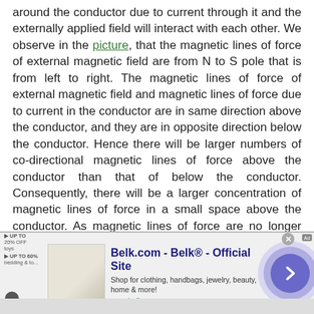around the conductor due to current through it and the externally applied field will interact with each other. We observe in the picture, that the magnetic lines of force of external magnetic field are from N to S pole that is from left to right. The magnetic lines of force of external magnetic field and magnetic lines of force due to current in the conductor are in same direction above the conductor, and they are in opposite direction below the conductor. Hence there will be larger numbers of co-directional magnetic lines of force above the conductor than that of below the conductor. Consequently, there will be a larger concentration of magnetic lines of force in a small space above the conductor. As magnetic lines of force are no longer straight lines, they are under tension like stretched rubber bands. As a result, there will be a
[Figure (screenshot): Advertisement banner for Belk.com - Belk Official Site. Shows store image, text 'Shop for clothing, handbags, jewelry, beauty, home & more!' and www.belk.com URL, with a right arrow navigation button.]